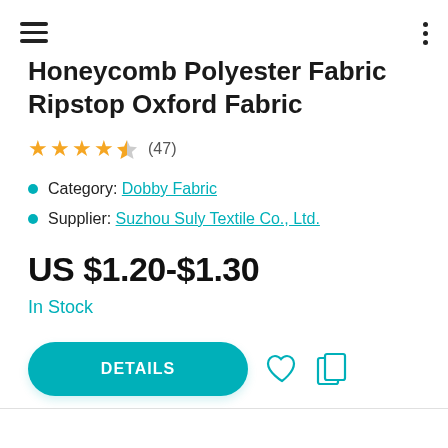Menu / More options
Honeycomb Polyester Fabric Ripstop Oxford Fabric
★★★★½ (47)
Category: Dobby Fabric
Supplier: Suzhou Suly Textile Co., Ltd.
US $1.20-$1.30
In Stock
DETAILS